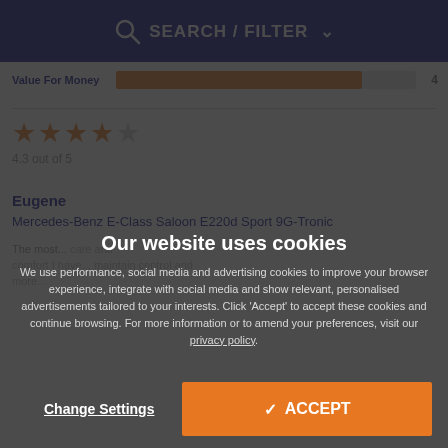SEARCH / FILTER
Value For Money 4
4.3 out of 5
Eugene
Mercedes-Benz E-Class Saloon E220d Sport 9G-Tronic
Our website uses cookies
We use performance, social media and advertising cookies to improve your browser experience, integrate with social media and show relevant, personalised advertisements tailored to your interests. Click ‘Accept’ to accept these cookies and continue browsing. For more information or to amend your preferences, visit our privacy policy.
Change Settings
✓ ACCEPT